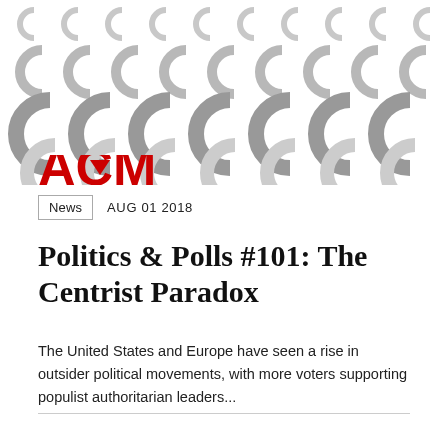[Figure (illustration): Repeating pattern of large letter C shapes in various shades of gray, arranged in a grid. The bottom-left shows partial red letters partially cropped.]
News  AUG 01 2018
Politics & Polls #101: The Centrist Paradox
The United States and Europe have seen a rise in outsider political movements, with more voters supporting populist authoritarian leaders...